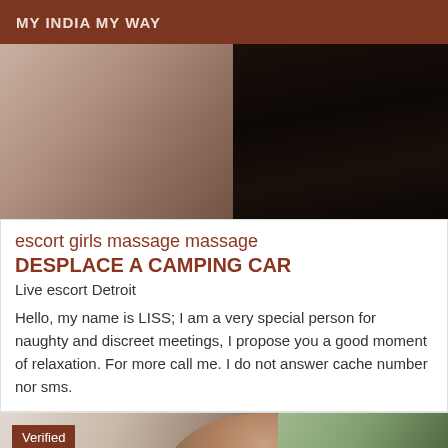MY INDIA MY WAY
[Figure (photo): Photo of a person lying on a couch wearing dark patterned stockings]
escort girls massage massage DESPLACE A CAMPING CAR
Live escort Detroit
Hello, my name is LISS; I am a very special person for naughty and discreet meetings, I propose you a good moment of relaxation. For more call me. I do not answer cache number nor sms.
[Figure (photo): Photo showing a person with brown hair and a Verified badge in the top-left corner, with greenery visible on the right]